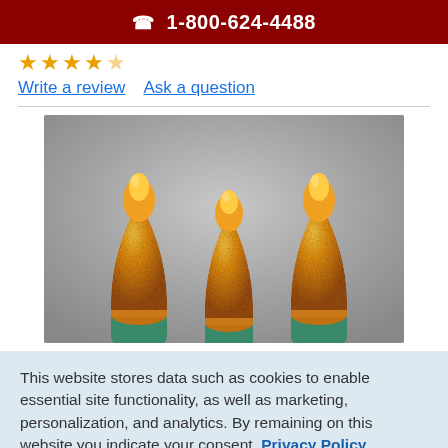📞 1-800-624-4488
★★★★☆ Write a review   Ask a question
[Figure (photo): Close-up photo of three amber/orange mini Christmas light bulbs with green bases on a gray gradient background]
This website stores data such as cookies to enable essential site functionality, as well as marketing, personalization, and analytics. By remaining on this website you indicate your consent. Privacy Policy